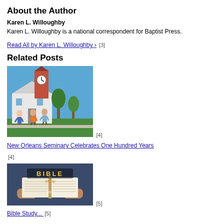About the Author
Karen L. Willoughby
Karen L. Willoughby is a national correspondent for Baptist Press.
Read All by Karen L. Willoughby › [3]
Related Posts
[Figure (photo): People walking outside a church building with a clock tower]
New Orleans Seminary Celebrates One Hundred Years [4]
[Figure (photo): Person holding a Bible open, with Bible Study You text overlay]
Bible Study... [5]